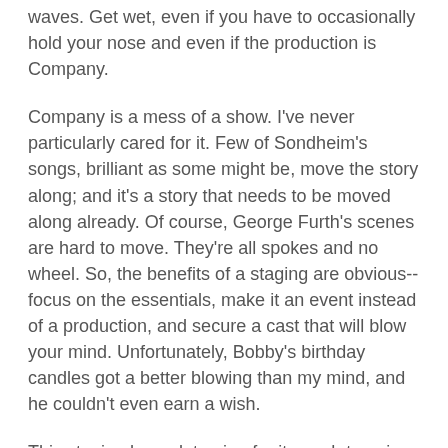waves. Get wet, even if you have to occasionally hold your nose and even if the production is Company.
Company is a mess of a show. I've never particularly cared for it. Few of Sondheim's songs, brilliant as some might be, move the story along; and it's a story that needs to be moved along already. Of course, George Furth's scenes are hard to move. They're all spokes and no wheel. So, the benefits of a staging are obvious--focus on the essentials, make it an event instead of a production, and secure a cast that will blow your mind. Unfortunately, Bobby's birthday candles got a better blowing than my mind, and he couldn't even earn a wish.
This staging has a lot going for it, much to enjoy; but it isn't a satisfying feast overall. It is more of a tasting menu of marshmallows, each a delicious treat on its own but as a meal, not easy to get through, not a particularly good idea, and you won't be able to take another bite but you'll still be hungry. And, ultimately, it's all just fluff.
Now, some of that fluff is absolutely delicious. Christina